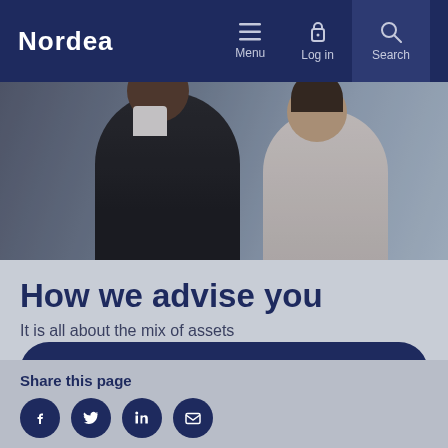Nordea — Menu | Log in | Search
[Figure (photo): Hero image showing two business professionals, a man in a dark suit and a woman in a white blouse, in a meeting setting]
How we advise you
It is all about the mix of assets
Learn more about how we advise you
Share this page
[Figure (illustration): Social share icons: Facebook, Twitter, LinkedIn, Email]